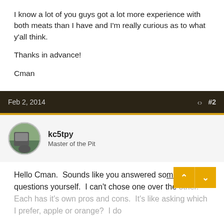I know a lot of you guys got a lot more experience with both meats than I have and I'm really curious as to what y'all think.
Thanks in advance!
Cman
Feb 2, 2014   #2
kc5tpy
Master of the Pit
Hello Cman.  Sounds like you answered some of the questions yourself.  I can't chose one over the other.  Each has it's own pros and cons.  It's like asking which I prefer, apple or orange?  I do